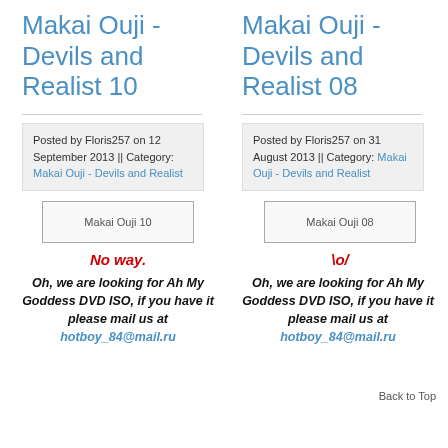Makai Ouji - Devils and Realist 10
Posted by Floris257 on 12 September 2013 || Category: Makai Ouji - Devils and Realist
[Figure (other): Makai Ouji 10 image placeholder]
No way.
Oh, we are looking for Ah My Goddess DVD ISO, if you have it please mail us at hotboy_84@mail.ru
Makai Ouji - Devils and Realist 08
Posted by Floris257 on 31 August 2013 || Category: Makai Ouji - Devils and Realist
[Figure (other): Makai Ouji 08 image placeholder]
\o/
Oh, we are looking for Ah My Goddess DVD ISO, if you have it please mail us at hotboy_84@mail.ru